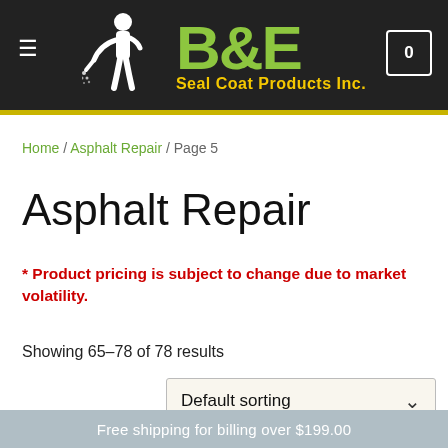[Figure (logo): B&E Seal Coat Products Inc. logo with white sprayer figure on dark background header]
Home / Asphalt Repair / Page 5
Asphalt Repair
* Product pricing is subject to change due to market volatility.
Showing 65–78 of 78 results
Default sorting
Free shipping for billing over $199.00